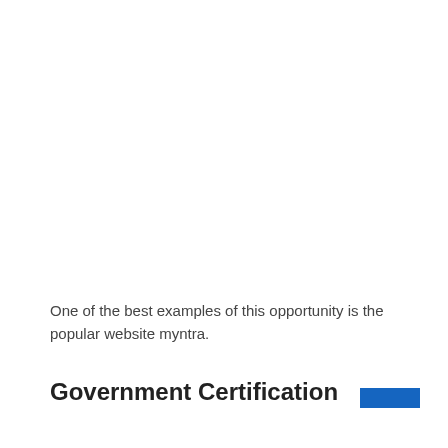One of the best examples of this opportunity is the popular website myntra.
Government Certification